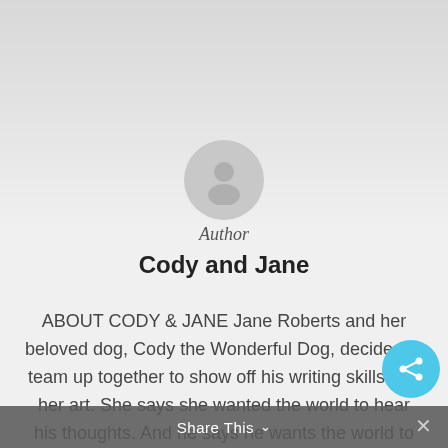[Figure (illustration): Author avatar placeholder circle with user silhouette icon on grey gradient background]
Author
Cody and Jane
ABOUT CODY & JANE Jane Roberts and her beloved dog, Cody the Wonderful Dog, decided to team up together to show off his writing skills and her art. She says she wanted the world to hear his thoughts. And he says he wants the world to see h art. Of course, most of the art here is of him, she says, but he says that's not the
Share This ∨